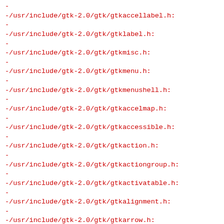-
-/usr/include/gtk-2.0/gtk/gtkaccellabel.h:
-
-/usr/include/gtk-2.0/gtk/gtklabel.h:
-
-/usr/include/gtk-2.0/gtk/gtkmisc.h:
-
-/usr/include/gtk-2.0/gtk/gtkmenu.h:
-
-/usr/include/gtk-2.0/gtk/gtkmenushell.h:
-
-/usr/include/gtk-2.0/gtk/gtkaccelmap.h:
-
-/usr/include/gtk-2.0/gtk/gtkaccessible.h:
-
-/usr/include/gtk-2.0/gtk/gtkaction.h:
-
-/usr/include/gtk-2.0/gtk/gtkactiongroup.h:
-
-/usr/include/gtk-2.0/gtk/gtkactivatable.h:
-
-/usr/include/gtk-2.0/gtk/gtkalignment.h:
-
-/usr/include/gtk-2.0/gtk/gtkarrow.h:
-
-/usr/include/gtk-2.0/gtk/gtkaspectframe.h:
-
-/usr/include/gtk-2.0/gtk/gtkframe.h:
-
-/usr/include/gtk-2.0/gtk/gtkassistant.h: